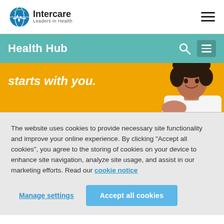[Figure (logo): Intercare Leaders in Health logo with circular green and blue icon]
Health Hub
[Figure (photo): Hero banner showing a smiling young woman with curly hair on an orange/yellow background with text 'starts with you.']
The website uses cookies to provide necessary site functionality and improve your online experience. By clicking “Accept all cookies”, you agree to the storing of cookies on your device to enhance site navigation, analyze site usage, and assist in our marketing efforts. Read our cookie notice
Manage settings | Accept all cookies